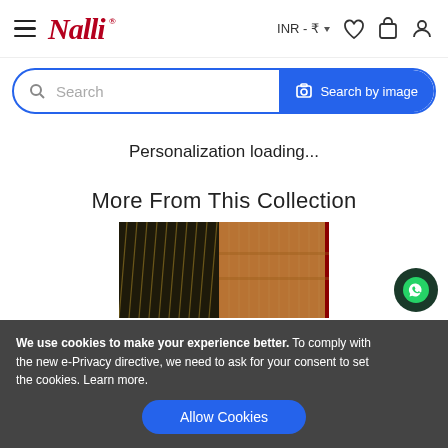Nalli — INR ₹
Search
Personalization loading...
More From This Collection
[Figure (photo): Saree fabric product photo showing dark green/black and copper/rust toned woven silk saree with gold zari stripes]
We use cookies to make your experience better. To comply with the new e-Privacy directive, we need to ask for your consent to set the cookies. Learn more.
Allow Cookies